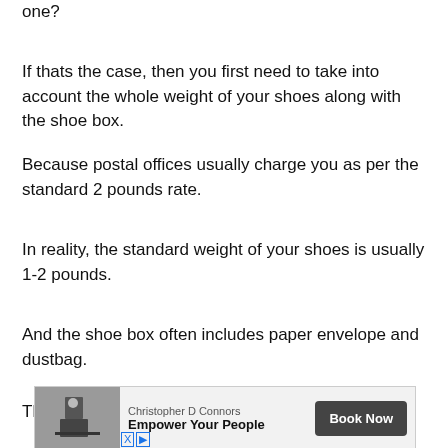one?
If thats the case, then you first need to take into account the whole weight of your shoes along with the shoe box.
Because postal offices usually charge you as per the standard 2 pounds rate.
In reality, the standard weight of your shoes is usually 1-2 pounds.
And the shoe box often includes paper envelope and dustbag.
These things can weigh up to 250 grams.
[Figure (other): Advertisement banner for 'Empower Your People' book by Christopher D Connors with a Book Now button]